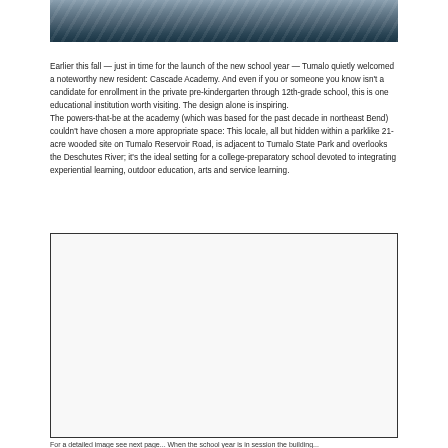[Figure (photo): Partial photo at top of page showing an outdoor scene, appears to be a sandy or rocky landscape with blue tones]
Earlier this fall — just in time for the launch of the new school year — Tumalo quietly welcomed a noteworthy new resident: Cascade Academy. And even if you or someone you know isn't a candidate for enrollment in the private pre-kindergarten through 12th-grade school, this is one educational institution worth visiting. The design alone is inspiring.
The powers-that-be at the academy (which was based for the past decade in northeast Bend) couldn't have chosen a more appropriate space: This locale, all but hidden within a parklike 21-acre wooded site on Tumalo Reservoir Road, is adjacent to Tumalo State Park and overlooks the Deschutes River; it's the ideal setting for a college-preparatory school devoted to integrating experiential learning, outdoor education, arts and service learning.
[Figure (photo): Large white/blank photo box with border]
For a detailed image see next page... When the school year is in session the building...